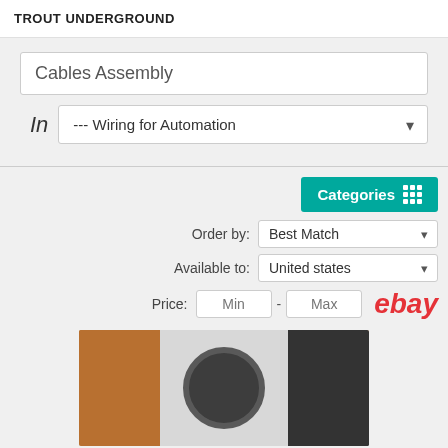TROUT UNDERGROUND
Cables Assembly
In --- Wiring for Automation
Categories
Order by: Best Match
Available to: United states
Price: Min - Max
[Figure (photo): Product listing image showing cable assembly in a plastic bag with tools on a brown pegboard background]